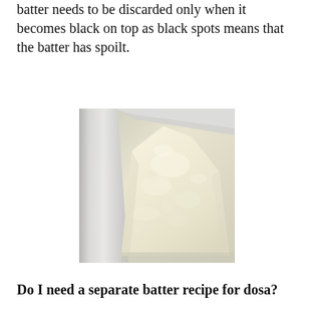batter needs to be discarded only when it becomes black on top as black spots means that the batter has spoilt.
[Figure (photo): Close-up photo of white fermented dosa/idli batter in a plastic container, showing a risen mound of batter with a textured surface]
Do I need a separate batter recipe for dosa?
My mom and grandmom used just one recipe